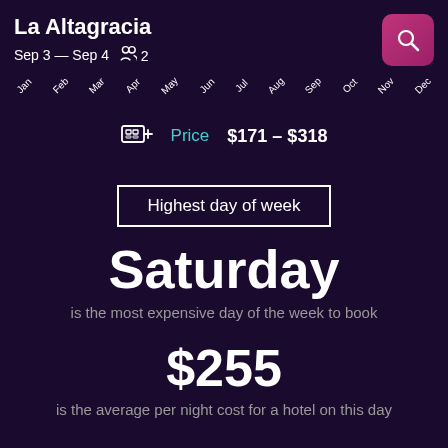La Altagracia
Sep 3 — Sep 4  2
Jan Feb Mar Apr May Jun Jul Aug Sep Oct Nov Dec
Price  $171 – $318
Highest day of week
Saturday
is the most expensive day of the week to book
$255
is the average per night cost for a hotel on this day